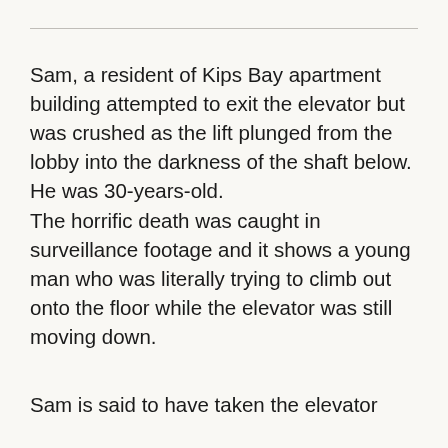Sam, a resident of Kips Bay apartment building attempted to exit the elevator but was crushed as the lift plunged from the lobby into the darkness of the shaft below. He was 30-years-old. The horrific death was caught in surveillance footage and it shows a young man who was literally trying to climb out onto the floor while the elevator was still moving down.
Sam is said to have taken the elevator